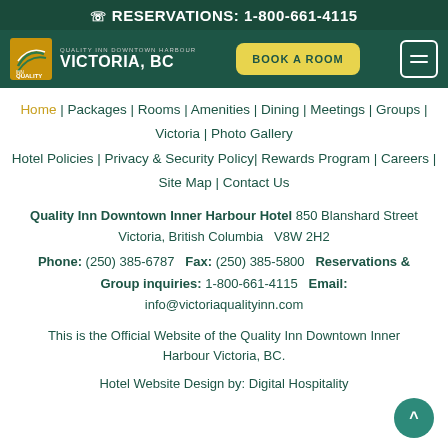RESERVATIONS: 1-800-661-4115
[Figure (logo): Quality Inn logo with yellow/gold swoosh on dark green background, text 'QUALITY INN DOWNTOWN HARBOUR VICTORIA, BC']
Home | Packages | Rooms | Amenities | Dining | Meetings | Groups | Victoria | Photo Gallery
Hotel Policies | Privacy & Security Policy| Rewards Program | Careers | Site Map | Contact Us
Quality Inn Downtown Inner Harbour Hotel 850 Blanshard Street Victoria, British Columbia V8W 2H2
Phone: (250) 385-6787   Fax: (250) 385-5800  Reservations & Group inquiries: 1-800-661-4115  Email: info@victoriaqualityinn.com
This is the Official Website of the Quality Inn Downtown Inner Harbour Victoria, BC.
Hotel Website Design by: Digital Hospitality